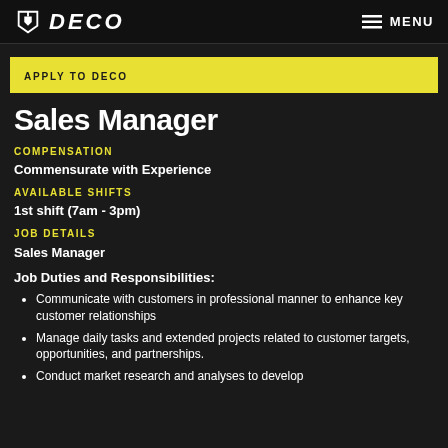DECO | MENU
APPLY TO DECO
Sales Manager
COMPENSATION
Commensurate with Experience
AVAILABLE SHIFTS
1st shift (7am - 3pm)
JOB DETAILS
Sales Manager
Job Duties and Responsibilities:
Communicate with customers in professional manner to enhance key customer relationships
Manage daily tasks and extended projects related to customer targets, opportunities, and partnerships.
Conduct market research and analyses to develop